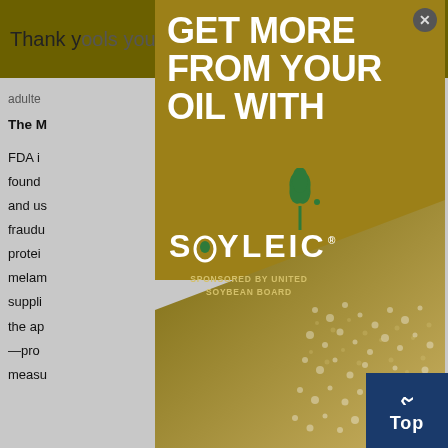Thank you tools you
adulte
The M
FDA i
found China
and us re
fraudu e
protei
melam were
supp li ease
the ap
—pro
measu
[Figure (advertisement): Advertisement overlay for Soyleic oil product. Gold/olive colored modal with white bold headline text 'GET MORE FROM YOUR OIL WITH', green plant/leaf logo above 'SOYLEIC' brand name with stylized leaf replacing the I, texture photo of grains in lower right, 'SPONSORED BY UNITED SOYBEAN BOARD' text, close button top right, dark navy 'Top' back-to-top button bottom right.]